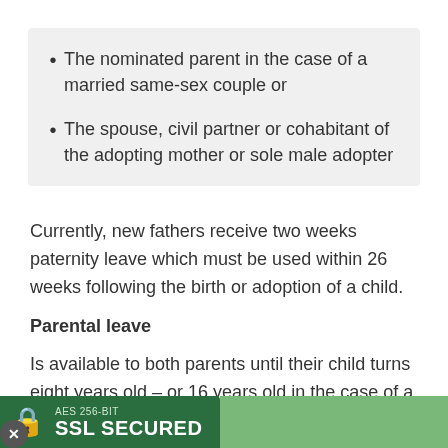The nominated parent in the case of a married same-sex couple or
The spouse, civil partner or cohabitant of the adopting mother or sole male adopter
Currently, new fathers receive two weeks paternity leave which must be used within 26 weeks following the birth or adoption of a child.
Parental leave
Is available to both parents until their child turns eight years old – or 16 years old in the case of a child living with a disability.